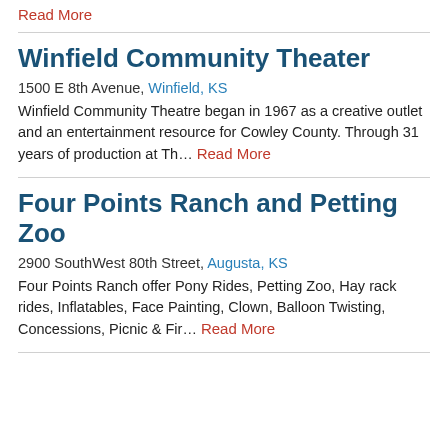Read More
Winfield Community Theater
1500 E 8th Avenue, Winfield, KS
Winfield Community Theatre began in 1967 as a creative outlet and an entertainment resource for Cowley County. Through 31 years of production at Th... Read More
Four Points Ranch and Petting Zoo
2900 SouthWest 80th Street, Augusta, KS
Four Points Ranch offer Pony Rides, Petting Zoo, Hay rack rides, Inflatables, Face Painting, Clown, Balloon Twisting, Concessions, Picnic & Fir... Read More